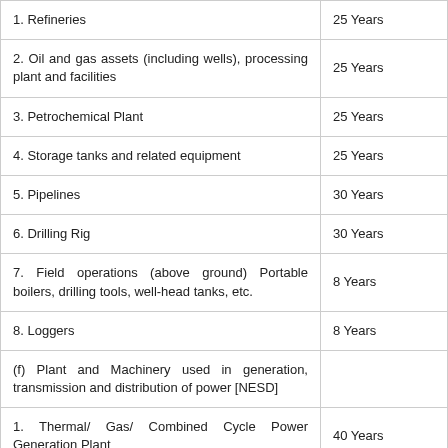| Description | Useful Life |
| --- | --- |
| 1. Refineries | 25 Years |
| 2. Oil and gas assets (including wells), processing plant and facilities | 25 Years |
| 3. Petrochemical Plant | 25 Years |
| 4. Storage tanks and related equipment | 25 Years |
| 5. Pipelines | 30 Years |
| 6. Drilling Rig | 30 Years |
| 7. Field operations (above ground) Portable boilers, drilling tools, well-head tanks, etc. | 8 Years |
| 8. Loggers | 8 Years |
| (f) Plant and Machinery used in generation, transmission and distribution of power [NESD] |  |
| 1. Thermal/ Gas/ Combined Cycle Power Generation Plant | 40 Years |